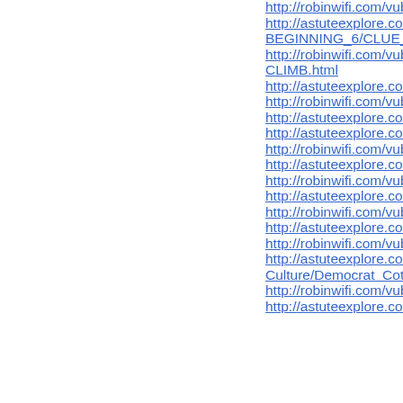http://robinwifi.com/vubo.php?
http://astuteexplore.com/taqs.ph
BEGINNING_6/CLUE_15769/
http://robinwifi.com/vubo.php?
CLIMB.html
http://astuteexplore.com/taqs.ph
http://robinwifi.com/vubo.php?
http://astuteexplore.com/taqs.ph
http://astuteexplore.com/taqs.ph
http://robinwifi.com/vubo.php?
http://astuteexplore.com/taqs.ph
http://robinwifi.com/vubo.php?
http://astuteexplore.com/taqs.ph
http://robinwifi.com/vubo.php?
http://astuteexplore.com/taqs.ph
http://robinwifi.com/vubo.php?
http://astuteexplore.com/taqs.ph
Culture/Democrat_Cotton/Conv
http://robinwifi.com/vubo.php?
http://astuteexplore.com/taqs.ph